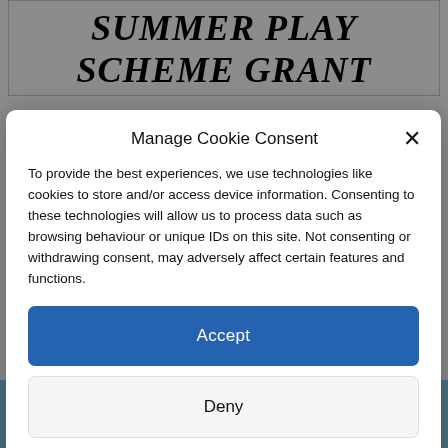SUMMER PLAY
SCHEME GRANT
Manage Cookie Consent
To provide the best experiences, we use technologies like cookies to store and/or access device information. Consenting to these technologies will allow us to process data such as browsing behaviour or unique IDs on this site. Not consenting or withdrawing consent, may adversely affect certain features and functions.
Accept
Deny
View preferences
Cookie Policy   Privacy & Cookie Policy, Terms of Use
Updates